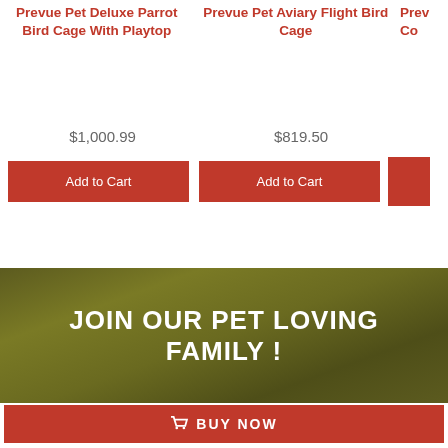Prevue Pet Deluxe Parrot Bird Cage With Playtop
Prevue Pet Aviary Flight Bird Cage
Prev Co
$1,000.99
$819.50
Add to Cart
Add to Cart
JOIN OUR PET LOVING FAMILY !
BUY NOW